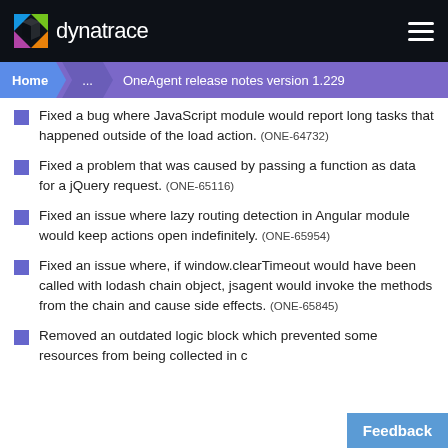dynatrace
Home > ... > OneAgent release notes version 1.229
Fixed a bug where JavaScript module would report long tasks that happened outside of the load action. (ONE-64732)
Fixed a problem that was caused by passing a function as data for a jQuery request. (ONE-65116)
Fixed an issue where lazy routing detection in Angular module would keep actions open indefinitely. (ONE-65954)
Fixed an issue where, if window.clearTimeout would have been called with lodash chain object, jsagent would invoke the methods from the chain and cause side effects. (ONE-65845)
Removed an outdated logic block which prevented some resources from being collected in ...